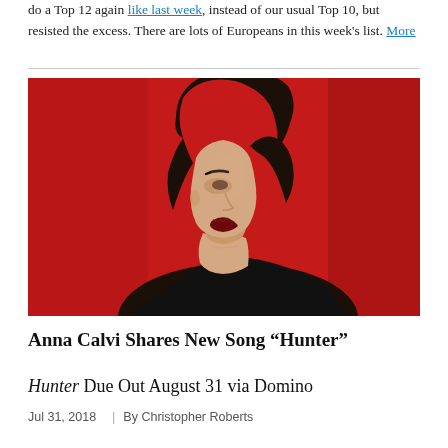do a Top 12 again like last week, instead of our usual Top 10, but resisted the excess. There are lots of Europeans in this week's list. More
[Figure (photo): A woman with dark hair and dark red lipstick, head tilted back, photographed against a bright red background, wearing a dark outfit.]
Anna Calvi Shares New Song “Hunter”
Hunter Due Out August 31 via Domino
Jul 31, 2018  |  By Christopher Roberts